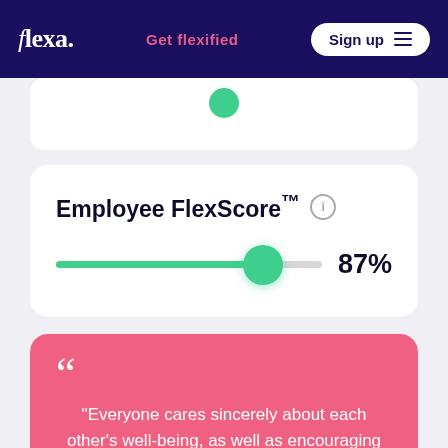flexa. | Get flexified | Sign up
[Figure (infographic): Green circle partially visible at top of a white card]
Employee FlexScore™
[Figure (infographic): Horizontal slider with green fill at 87%, green circular thumb, showing score of 87%]
"Everyone cares sincerely about each other's well-being, as well as encouraging